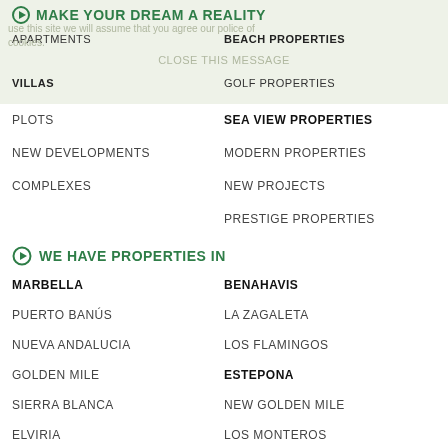MAKE YOUR DREAM A REALITY
use this site we will assume that you agree our police of cookies.
APARTMENTS
BEACH PROPERTIES
CLOSE THIS MESSAGE
VILLAS
GOLF PROPERTIES
PLOTS
SEA VIEW PROPERTIES
NEW DEVELOPMENTS
MODERN PROPERTIES
COMPLEXES
NEW PROJECTS
PRESTIGE PROPERTIES
WE HAVE PROPERTIES IN
MARBELLA
BENAHAVIS
PUERTO BANÚS
LA ZAGALETA
NUEVA ANDALUCIA
LOS FLAMINGOS
GOLDEN MILE
ESTEPONA
SIERRA BLANCA
NEW GOLDEN MILE
ELVIRIA
LOS MONTEROS